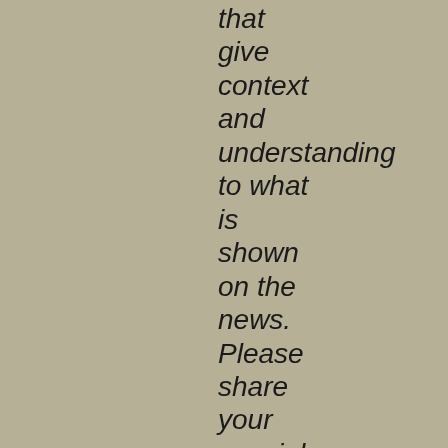that give context and understanding to what is shown on the news. Please share your special insights, those moments that make the sacrifice